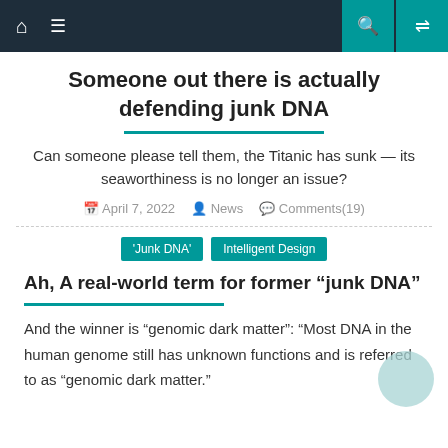Navigation bar with home, menu, search, and shuffle icons
Someone out there is actually defending junk DNA
Can someone please tell them, the Titanic has sunk — its seaworthiness is no longer an issue?
April 7, 2022  News  Comments(19)
'Junk DNA'  Intelligent Design
Ah, A real-world term for former “junk DNA”
And the winner is “genomic dark matter”: “Most DNA in the human genome still has unknown functions and is referred to as “genomic dark matter.”